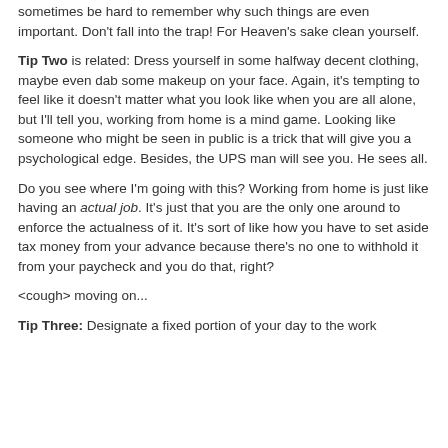sometimes be hard to remember why such things are even important. Don't fall into the trap! For Heaven's sake clean yourself.
Tip Two is related: Dress yourself in some halfway decent clothing, maybe even dab some makeup on your face. Again, it's tempting to feel like it doesn't matter what you look like when you are all alone, but I'll tell you, working from home is a mind game. Looking like someone who might be seen in public is a trick that will give you a psychological edge. Besides, the UPS man will see you. He sees all.
Do you see where I'm going with this? Working from home is just like having an actual job. It's just that you are the only one around to enforce the actualness of it. It's sort of like how you have to set aside tax money from your advance because there's no one to withhold it from your paycheck and you do that, right?
<cough> moving on...
Tip Three: Designate a fixed portion of your day to the work